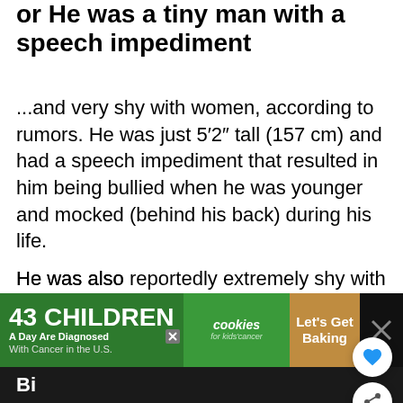or He was a tiny man with a speech impediment
...and very shy with women, according to rumors. He was just 5′2″ tall (157 cm) and had a speech impediment that resulted in him being bullied when he was younger and mocked (behind his back) during his life.
He was also reportedly extremely shy with women, a problem his wife didn’t help with, since she was reportedly extremé jealous.
[Figure (other): Advertisement banner: '43 CHILDREN A Day Are Diagnosed With Cancer in the U.S.' with cookies for kids cancer logo and Let's Get Baking text]